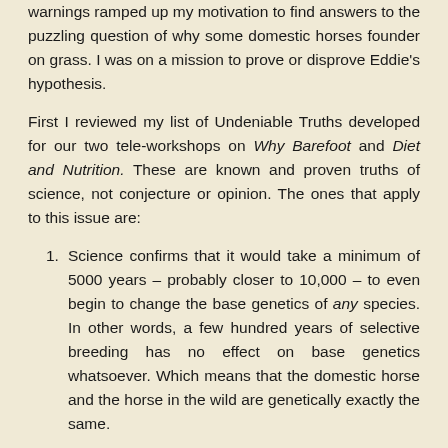warnings ramped up my motivation to find answers to the puzzling question of why some domestic horses founder on grass. I was on a mission to prove or disprove Eddie's hypothesis.
First I reviewed my list of Undeniable Truths developed for our two tele-workshops on Why Barefoot and Diet and Nutrition. These are known and proven truths of science, not conjecture or opinion. The ones that apply to this issue are:
Science confirms that it would take a minimum of 5000 years – probably closer to 10,000 – to even begin to change the base genetics of any species. In other words, a few hundred years of selective breeding has no effect on base genetics whatsoever. Which means that the domestic horse and the horse in the wild are genetically exactly the same.